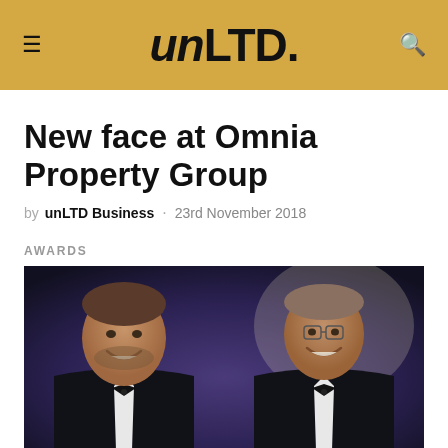unLTD. Business news website header with hamburger menu and search icon
New face at Omnia Property Group
by unLTD Business · 23rd November 2018
AWARDS
[Figure (photo): Two men in tuxedos with bow ties smiling at a formal awards event, photographed from chest up]